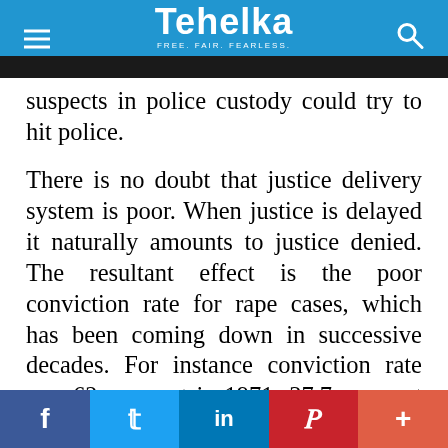Tehelka — FREE. FAIR. FEARLESS.
suspects in police custody could try to hit police.
There is no doubt that justice delivery system is poor. When justice is delayed it naturally amounts to justice denied. The resultant effect is the poor conviction rate for rape cases, which has been coming down in successive decades. For instance conviction rate was 62 per cent in 1971; 37.7 per cent in 1983; 26.9 per cent in 2009 ; and 27.1 per cent (2013) and so on.
Quite often, there is a jurisdictional dispute regarding the registration of cases as in Hyderabad/Telagana rape and murder case of the veterinary doctor.  But it
f  t  in  P  +